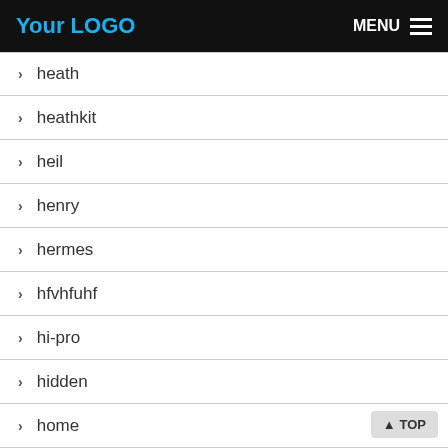Your LOGO  MENU
heath
heathkit
heil
henry
hermes
hfvhfuhf
hi-pro
hidden
home
homebrew
homemade